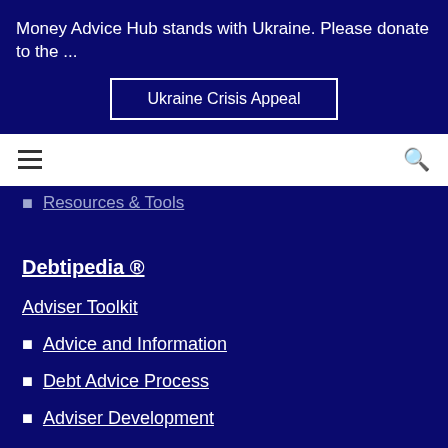Money Advice Hub stands with Ukraine. Please donate to the ...
Ukraine Crisis Appeal
Resources & Tools
Debtipedia ®
Adviser Toolkit
Advice and Information
Debt Advice Process
Adviser Development
Adviser Tools
Adviser Wellbeing Toolkit